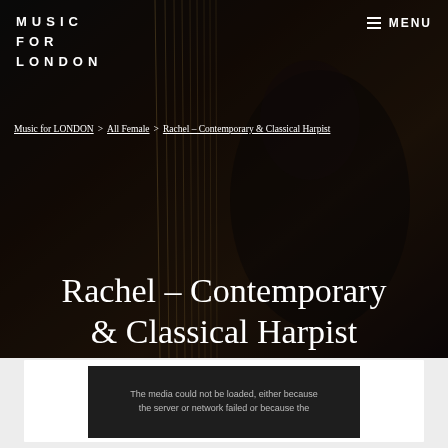MUSIC FOR LONDON
MENU
Music for LONDON > All Female > Rachel – Contemporary & Classical Harpist
Rachel – Contemporary & Classical Harpist
[Figure (photo): Woman playing a harp, dark background, semi-transparent overlay]
The media could not be loaded, either because the server or network failed or because the